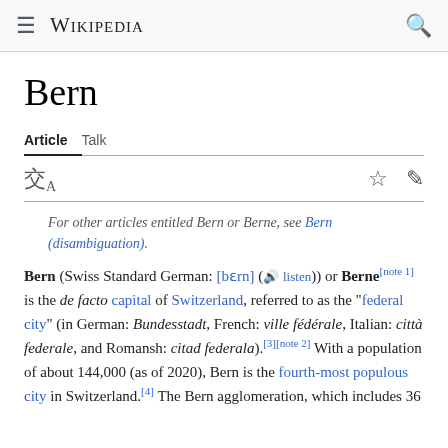≡ WIKIPEDIA 🔍
Bern
Article  Talk
For other articles entitled Bern or Berne, see Bern (disambiguation).
Bern (Swiss Standard German: [bɛrn] (listen)) or Berne[note 1] is the de facto capital of Switzerland, referred to as the "federal city" (in German: Bundesstadt, French: ville fédérale, Italian: città federale, and Romansh: citad federala).[3][note 2] With a population of about 144,000 (as of 2020), Bern is the fourth-most populous city in Switzerland.[4] The Bern agglomeration, which includes 36